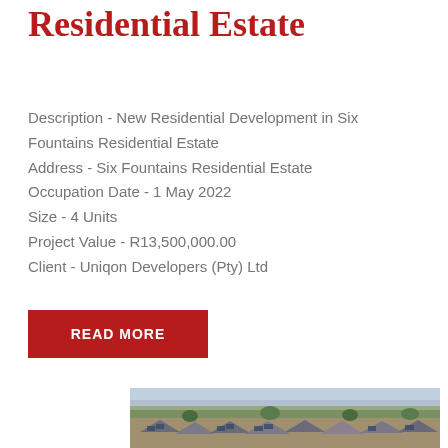Residential Estate
Description - New Residential Development in Six Fountains Residential Estate
Address - Six Fountains Residential Estate
Occupation Date - 1 May 2022
Size - 4 Units
Project Value - R13,500,000.00
Client - Uniqon Developers (Pty) Ltd
READ MORE
[Figure (photo): Aerial photograph of Six Fountains Residential Estate showing rooftops with solar panels and surrounding trees and landscape]